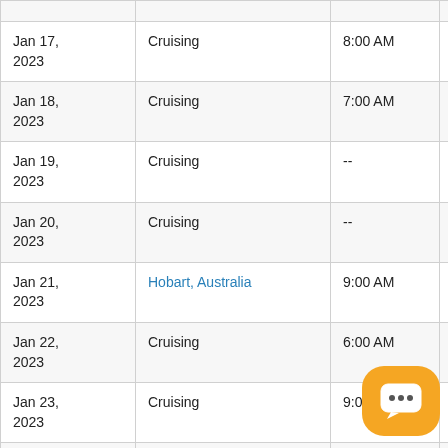| Date | Destination | Arrives | Departs |
| --- | --- | --- | --- |
| Jan 17, 2023 | Cruising | 8:00 AM | 5:00 PM |
| Jan 18, 2023 | Cruising | 7:00 AM | 8:00 PM |
| Jan 19, 2023 | Cruising | -- | -- |
| Jan 20, 2023 | Cruising | -- | -- |
| Jan 21, 2023 | Hobart, Australia | 9:00 AM | 5:00 PM |
| Jan 22, 2023 | Cruising | 6:00 AM | 1:00 PM |
| Jan 23, 2023 | Cruising | 9:00 AM | 6:00 PM |
| Jan 24, 2023 (partial) | Cruising | 9:00 AM | 11:00 PM |